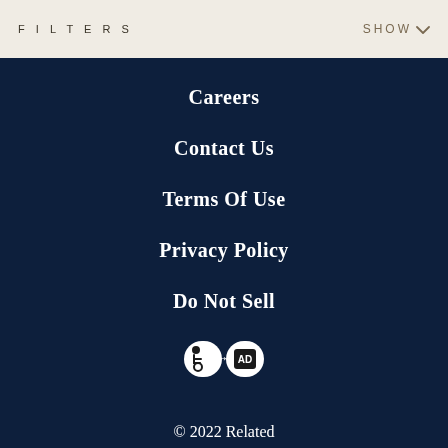FILTERS
SHOW
Careers
Contact Us
Terms Of Use
Privacy Policy
Do Not Sell
[Figure (logo): Accessibility icon badge]
© 2022 Related